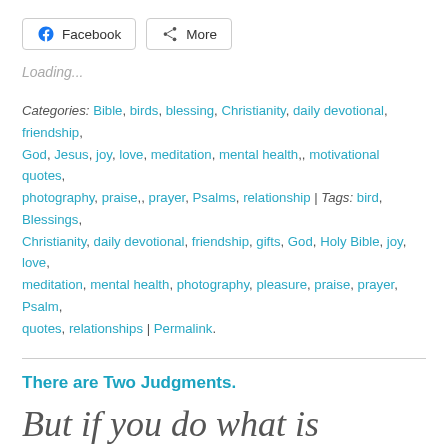[Figure (other): Facebook share button and More share button]
Loading...
Categories: Bible, birds, blessing, Christianity, daily devotional, friendship, God, Jesus, joy, love, meditation, mental health,, motivational quotes, photography, praise,, prayer, Psalms, relationship | Tags: bird, Blessings, Christianity, daily devotional, friendship, gifts, God, Holy Bible, joy, love, meditation, mental health, photography, pleasure, praise, prayer, Psalm, quotes, relationships | Permalink.
There are Two Judgments.
But if you do what is wrong, you will be paid